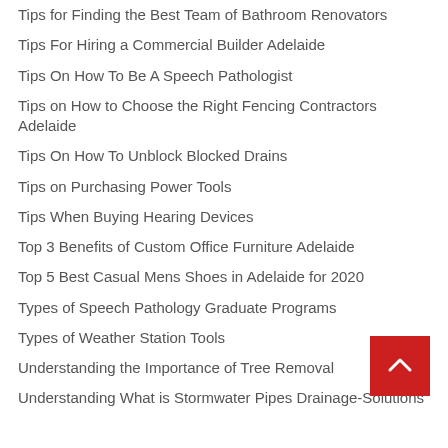Tips for Finding the Best Team of Bathroom Renovators
Tips For Hiring a Commercial Builder Adelaide
Tips On How To Be A Speech Pathologist
Tips on How to Choose the Right Fencing Contractors Adelaide
Tips On How To Unblock Blocked Drains
Tips on Purchasing Power Tools
Tips When Buying Hearing Devices
Top 3 Benefits of Custom Office Furniture Adelaide
Top 5 Best Casual Mens Shoes in Adelaide for 2020
Types of Speech Pathology Graduate Programs
Types of Weather Station Tools
Understanding the Importance of Tree Removal
Understanding What is Stormwater Pipes Drainage-Solutions